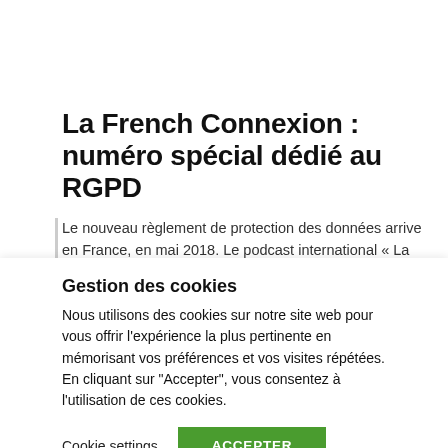La French Connexion : numéro spécial dédié au RGPD
Le nouveau règlement de protection des données arrive en France, en mai 2018. Le podcast international « La French Connexion« , ainsi que le...
Gestion des cookies
Nous utilisons des cookies sur notre site web pour vous offrir l'expérience la plus pertinente en mémorisant vos préférences et vos visites répétées. En cliquant sur "Accepter", vous consentez à l'utilisation de ces cookies.
Cookie settings   ACCEPTER